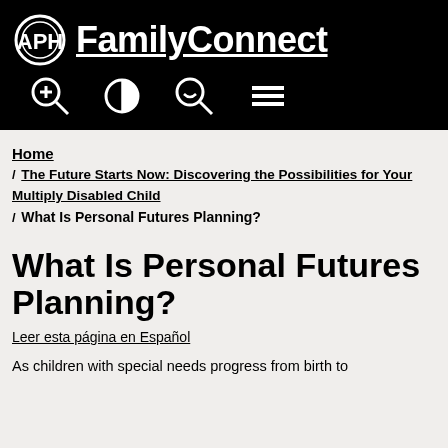APH FamilyConnect
Home / The Future Starts Now: Discovering the Possibilities for Your Multiply Disabled Child / What Is Personal Futures Planning?
What Is Personal Futures Planning?
Leer esta página en Español
As children with special needs progress from birth to